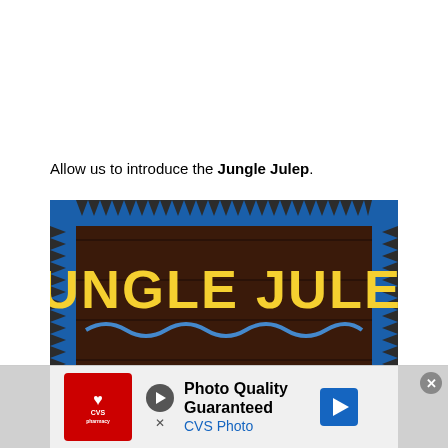Allow us to introduce the Jungle Julep.
[Figure (photo): A sign for 'Jungle Julep' — a dark wood-paneled board with blue triangle border pattern and bold yellow text reading 'JUNGLE JULEP'. Below the text is a wavy blue line and an image of a pink drink in a cup with a teal umbrella, blue straw, green leaf, and mango slice garnish.]
Photo Quality Guaranteed CVS Photo